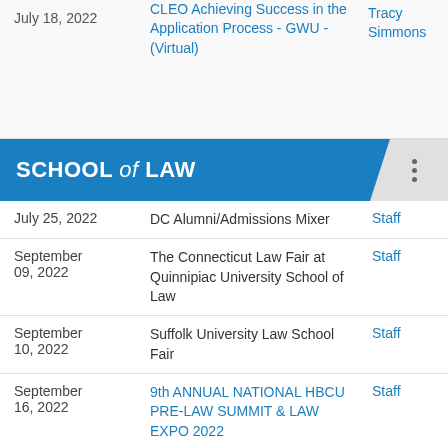| Date | Event | Who |
| --- | --- | --- |
| July 18, 2022 | CLEO Achieving Success in the Application Process - GWU - (Virtual) | Tracy Simmons |
| July 25, 2022 | DC Alumni/Admissions Mixer | Staff |
| September 09, 2022 | The Connecticut Law Fair at Quinnipiac University School of Law | Staff |
| September 10, 2022 | Suffolk University Law School Fair | Staff |
| September 16, 2022 | 9th ANNUAL NATIONAL HBCU PRE-LAW SUMMIT & LAW EXPO 2022 | Staff |
| September 19, 2022 | LSAC Toronto Forum | Staff |